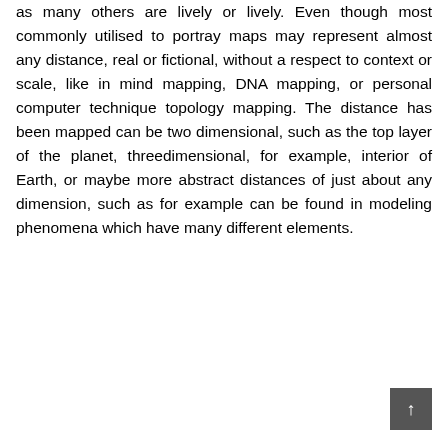as many others are lively or lively. Even though most commonly utilised to portray maps may represent almost any distance, real or fictional, without a respect to context or scale, like in mind mapping, DNA mapping, or personal computer technique topology mapping. The distance has been mapped can be two dimensional, such as the top layer of the planet, threedimensional, for example, interior of Earth, or maybe more abstract distances of just about any dimension, such as for example can be found in modeling phenomena which have many different elements.